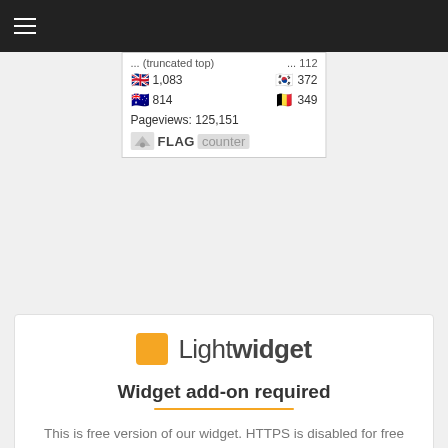≡  (navigation hamburger menu bar)
[Figure (screenshot): Flag Counter widget showing visitor statistics: UK flag 1,083 | Korea flag 372 | Australia flag 814 | Belgium flag 349 | Pageviews: 125,151 | FLAG counter logo]
[Figure (screenshot): LightWidget add-on required panel with logo, title 'Widget add-on required', description about HTTPS being disabled for free widgets, 'Upgrade now!' button, and footer text 'LightWidget - Responsive Widget for Instagram']